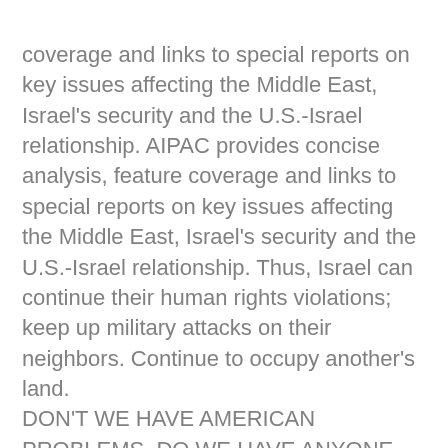coverage and links to special reports on key issues affecting the Middle East, Israel's security and the U.S.-Israel relationship. AIPAC provides concise analysis, feature coverage and links to special reports on key issues affecting the Middle East, Israel's security and the U.S.-Israel relationship. Thus, Israel can continue their human rights violations; keep up military attacks on their neighbors. Continue to occupy another's land. DON'T WE HAVE AMERICAN PROBLEMS, DO WE HAVE ANYONE REPRESENTING AMERICA, SURE AS HELL DOES NOT LOOK LIKE IT!! Of course all those trips, and bennies, sure go along way don't they!